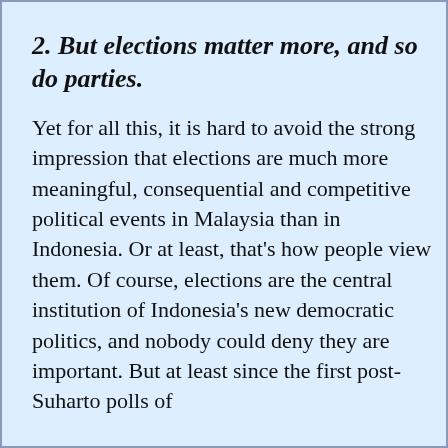2. But elections matter more, and so do parties.
Yet for all this, it is hard to avoid the strong impression that elections are much more meaningful, consequential and competitive political events in Malaysia than in Indonesia. Or at least, that's how people view them. Of course, elections are the central institution of Indonesia's new democratic politics, and nobody could deny they are important. But at least since the first post-Suharto polls of